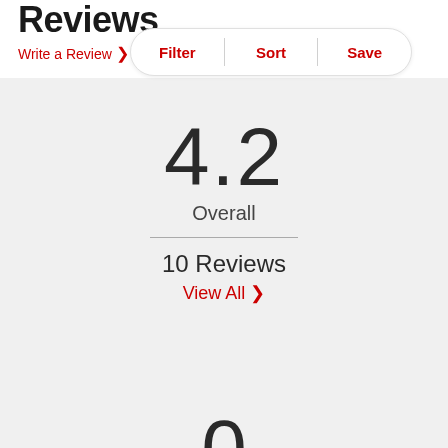Reviews
Write a Review >
Filter | Sort | Save
4.2
Overall
10 Reviews
View All >
0
Reviews